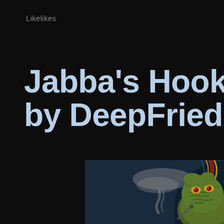Likelikes
Jabba's Hookah Lounge T by DeepFriedArt #starwa
[Figure (illustration): Illustration of a Star Wars Jabba the Hutt character styled as a hookah lounge scene, with green alien figure and arched decorative border on dark blue background with smoke clouds]